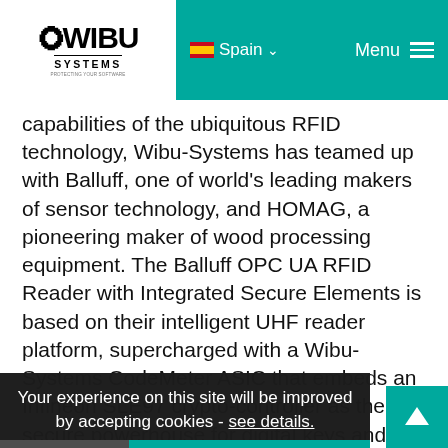WIBU SYSTEMS | Spain | Menu
capabilities of the ubiquitous RFID technology, Wibu-Systems has teamed up with Balluff, one of world's leading makers of sensor technology, and HOMAG, a pioneering maker of wood processing equipment. The Balluff OPC UA RFID Reader with Integrated Secure Elements is based on their intelligent UHF reader platform, supercharged with a Wibu-Systems CodeMeter ASIC that embeds an Infineon SLE97 crypto-controller as the secure powerhouse for digital keys and certificates. The system uses the security functions of the OPC UA implementation of Unified Automation built around Open-SSL to secure M2M communication at both ends: the tag reader and the computer processing the data on the one end, and the manufacturing execution system using it to steer production operations at the other end.
Your experience on this site will be improved by accepting cookies - see details.
accept only necessary | accept all